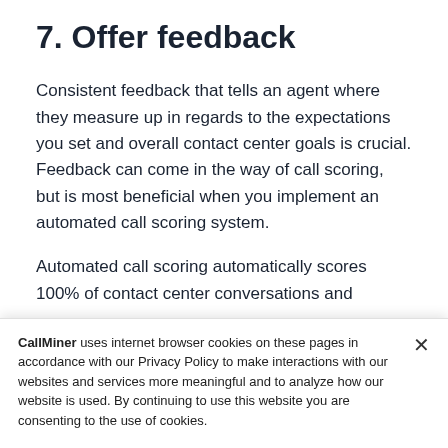7. Offer feedback
Consistent feedback that tells an agent where they measure up in regards to the expectations you set and overall contact center goals is crucial. Feedback can come in the way of call scoring, but is most beneficial when you implement an automated call scoring system.
Automated call scoring automatically scores 100% of contact center conversations and
CallMiner uses internet browser cookies on these pages in accordance with our Privacy Policy to make interactions with our websites and services more meaningful and to analyze how our website is used. By continuing to use this website you are consenting to the use of cookies.